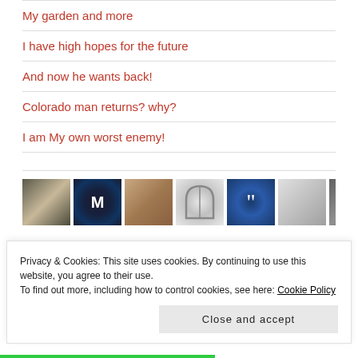My garden and more
I have high hopes for the future
And now he wants back!
Colorado man returns? why?
I am My own worst enemy!
[Figure (photo): Row of thumbnail images: dark interior, circular M logo, woman portrait, arch/bridge, blue quote mark icon, blurred face, black and white portrait]
Privacy & Cookies: This site uses cookies. By continuing to use this website, you agree to their use.
To find out more, including how to control cookies, see here: Cookie Policy
Close and accept